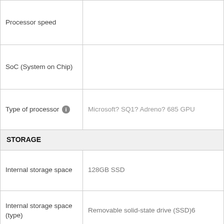| Attribute | Value |
| --- | --- |
| Processor speed |  |
| SoC (System on Chip) |  |
| Type of processor | Microsoft? SQ1? Adreno? 685 GPU |
| STORAGE |  |
| Internal storage space | 128GB SSD |
| Internal storage space (type) | Removable solid-state drive (SSD)6 |
| Memory card readers | No |
| Compatible memory cards |  |
| Including memory | No |